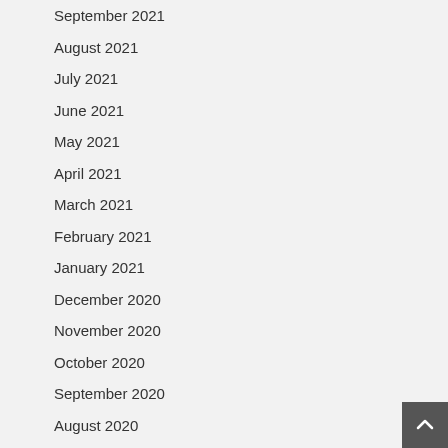September 2021
August 2021
July 2021
June 2021
May 2021
April 2021
March 2021
February 2021
January 2021
December 2020
November 2020
October 2020
September 2020
August 2020